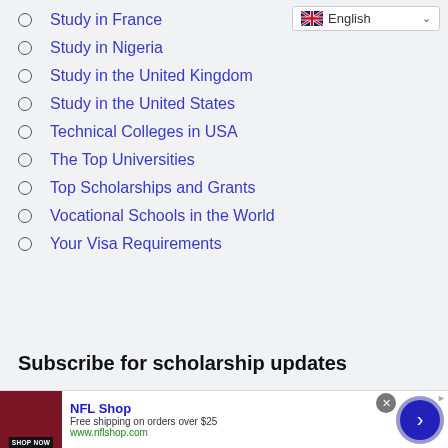Study in France
Study in Nigeria
Study in the United Kingdom
Study in the United States
Technical Colleges in USA
The Top Universities
Top Scholarships and Grants
Vocational Schools in the World
Your Visa Requirements
Subscribe for scholarship updates
[Figure (screenshot): NFL Shop advertisement banner with shop now button, free shipping offer, and navigation arrow]